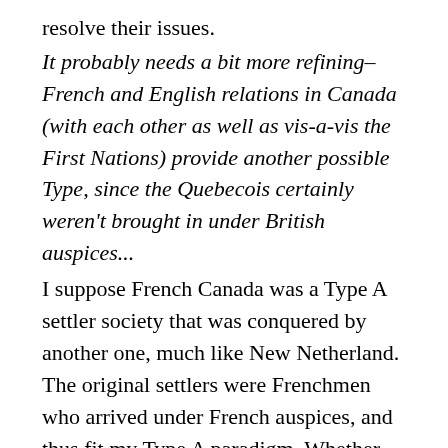resolve their issues.
It probably needs a bit more refining– French and English relations in Canada (with each other as well as vis-a-vis the First Nations) provide another possible Type, since the Quebecois certainly weren't brought in under British auspices...
I suppose French Canada was a Type A settler society that was conquered by another one, much like New Netherland. The original settlers were Frenchmen who arrived under French auspices, and thus fit my Type A paradigm. Whether the subsequent conquest renders it a different type is something I'll have to think about.
Btw, about NZ First, I think they have one MP and